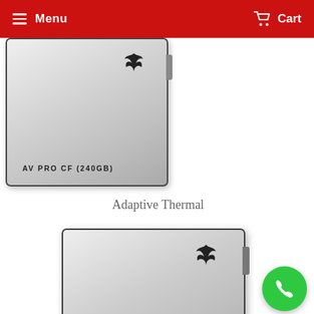Menu  Cart
[Figure (photo): Angelbird AV PRO CF (240GB) memory card – silver brushed metal surface with wing logo, dark border, notch on right side]
Adaptive Thermal
[Figure (photo): Angelbird AV PRO CF (240GB) memory card – second view, silver brushed metal surface with wing logo, dark border, notch on right side]
[Figure (other): Green circular phone/call button icon in bottom right corner]